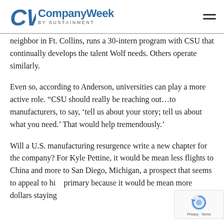CompanyWeek by SUSTAINMENT
neighbor in Ft. Collins, runs a 30-intern program with CSU that continually develops the talent Wolf needs. Others operate similarly.
Even so, according to Anderson, universities can play a more active role. “CSU should really be reaching out…to manufacturers, to say, ‘tell us about your story; tell us about what you need.’ That would help tremendously.’
Will a U.S. manufacturing resurgence write a new chapter for the company? For Kyle Pettine, it would be mean less flights to China and more to San Diego, Michigan, a prospect that seems to appeal to him primary because it would be mean more dollars staying